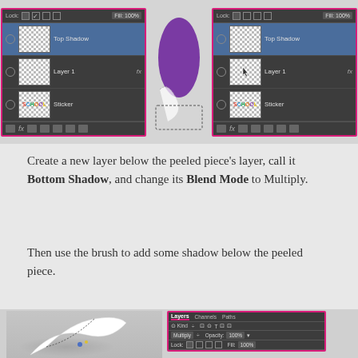[Figure (screenshot): Two Photoshop Layers panels side by side showing Top Shadow, Layer 1, and Sticker layers, with a preview of a purple shape and peeled sticker effect between them.]
Create a new layer below the peeled piece's layer, call it Bottom Shadow, and change its Blend Mode to Multiply.
Then use the brush to add some shadow below the peeled piece.
[Figure (screenshot): Photoshop workspace showing a peeled sticker with shadow effect and Layers panel showing Multiply blend mode at 100% opacity.]